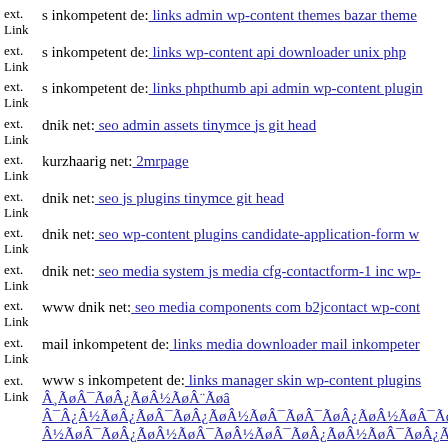ext. Link s inkompetent de: links admin wp-content themes bazar theme
ext. Link s inkompetent de: links wp-content api downloader unix php
ext. Link s inkompetent de: links phpthumb api admin wp-content plugin
ext. Link dnik net: seo admin assets tinymce js git head
ext. Link kurzhaarig net: 2mrpage
ext. Link dnik net: seo js plugins tinymce git head
ext. Link dnik net: seo wp-content plugins candidate-application-form w
ext. Link dnik net: seo media system js media cfg-contactform-1 inc wp-
ext. Link www dnik net: seo media components com b2jcontact wp-cont
ext. Link mail inkompetent de: links media downloader mail inkompeter
ext. Link www s inkompetent de: links manager skin wp-content plugins Â¸ÃøÂ¯ÃøÂ¿ÃøÂ½ÃøÂ¨Ãøâ Â¯Â¿Â½ÃøÂ¿ÃøÂ¯ÃøÂ¿ÃøÂ½ÃøÂ¯ÃøÂ¯ÃøÂ¿ÃøÂ½ÃøÂ¯ÃøÂ¿ÃøÂ¿Ã¡Ã Â½ÃøÂ¯ÃøÂ¿ÃøÂ½ÃøÂ¯ÃøÂ½ÃøÂ¯ÃøÂ¿ÃøÂ½ÃøÂ¯ÃøÂ¿ÃøÂ¿ÃøÂ½ÃøÂ¯ÃøÂ¿ÃøÂ¡ÃøÂ